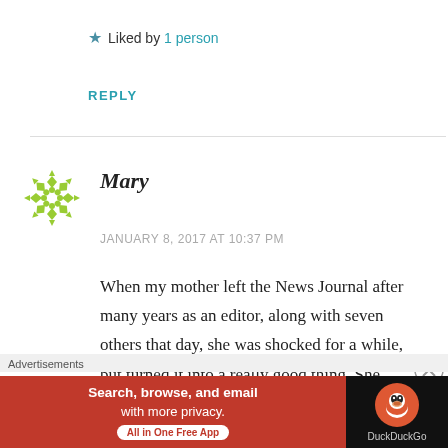★ Liked by 1 person
REPLY
[Figure (illustration): Green snowflake/star pattern avatar for commenter Mary]
Mary
JANUARY 8, 2017 AT 10:37 PM
When my mother left the News Journal after many years as an editor, along with seven others that day, she was shocked for a while, but turned it into a really good thing. She moved to St. Croix
Advertisements
[Figure (screenshot): DuckDuckGo advertisement banner: Search, browse, and email with more privacy. All in One Free App. DuckDuckGo logo on right.]